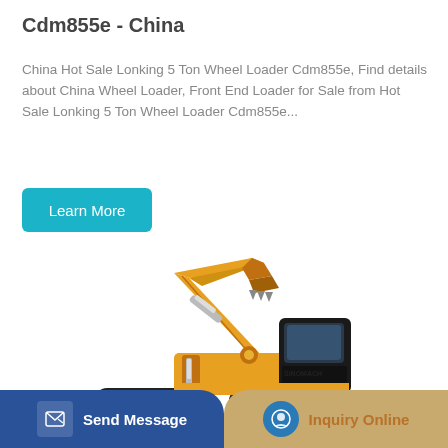Cdm855e - China
China Hot Sale Lonking 5 Ton Wheel Loader Cdm855e, Find details about China Wheel Loader, Front End Loader for Sale from Hot Sale Lonking 5 Ton Wheel Loader Cdm855e...
[Figure (illustration): Yellow SINOMACH excavator/crawler with extended boom arm, black cabin, on white background]
Send Message | Inquiry Online